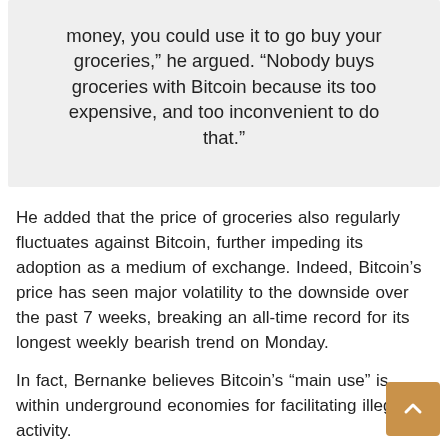money, you could use it to go buy your groceries,” he argued. “Nobody buys groceries with Bitcoin because its too expensive, and too inconvenient to do that.”
He added that the price of groceries also regularly fluctuates against Bitcoin, further impeding its adoption as a medium of exchange. Indeed, Bitcoin’s price has seen major volatility to the downside over the past 7 weeks, breaking an all-time record for its longest weekly bearish trend on Monday.
In fact, Bernanke believes Bitcoin’s “main use” is within underground economies for facilitating illegal activity.